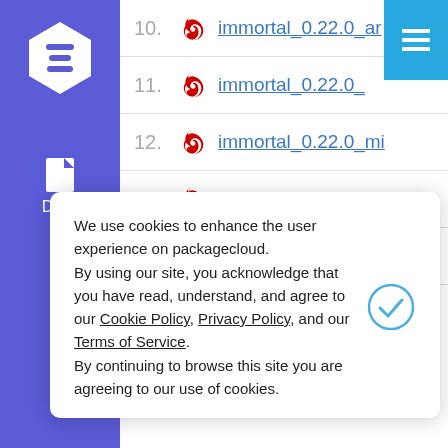[Figure (screenshot): Sidebar with hexagon logo and Docs icon on purple background]
10. immortal_0.22.0_ar
11. immortal_0.22.0_
12. immortal_0.22.0_mi
13. immortal_0.23.0_an
14. immortal_0.23.0_an
We use cookies to enhance the user experience on packagecloud. By using our site, you acknowledge that you have read, understand, and agree to our Cookie Policy, Privacy Policy, and our Terms of Service. By continuing to browse this site you are agreeing to our use of cookies.